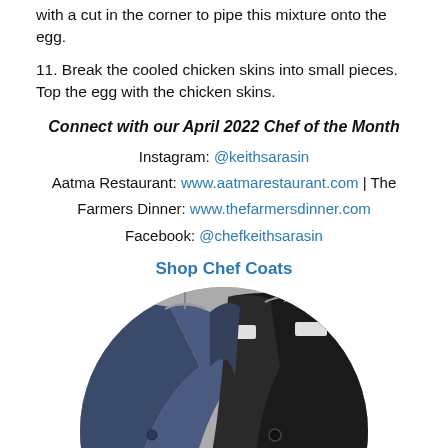with a cut in the corner to pipe this mixture onto the egg.
11. Break the cooled chicken skins into small pieces. Top the egg with the chicken skins.
Connect with our April 2022 Chef of the Month
Instagram: @keithsarasin
Aatma Restaurant: www.aatmarestaurant.com | The Farmers Dinner: www.thefarmersdinner.com
Facebook: @chefkeithsarasin
Shop Chef Coats
[Figure (photo): Circular cropped photo showing two chef coats on hangers — one navy blue and one black — displayed against a gray background.]